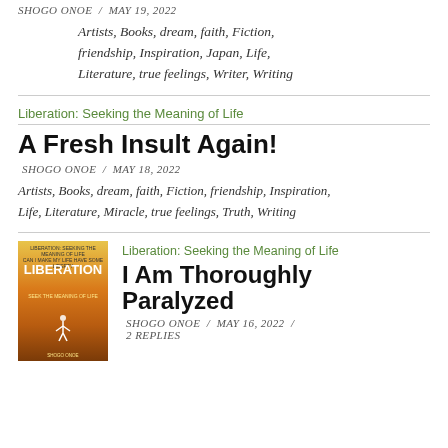SHOGO ONOE  /  MAY 19, 2022
Artists, Books, dream, faith, Fiction, friendship, Inspiration, Japan, Life, Literature, true feelings, Writer, Writing
Liberation: Seeking the Meaning of Life
A Fresh Insult Again!
SHOGO ONOE  /  MAY 18, 2022
Artists, Books, dream, faith, Fiction, friendship, Inspiration, Life, Literature, Miracle, true feelings, Truth, Writing
Liberation: Seeking the Meaning of Life
[Figure (illustration): Book cover for Liberation: Seeking the Meaning of Life with orange/yellow gradient background and silhouette of person with arms raised]
I Am Thoroughly Paralyzed
SHOGO ONOE  /  MAY 16, 2022  /  2 REPLIES